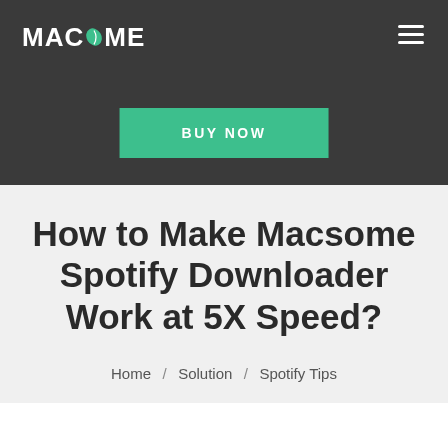MACSOME
[Figure (other): BUY NOW button - teal/green rectangular button with white uppercase text]
How to Make Macsome Spotify Downloader Work at 5X Speed?
Home / Solution / Spotify Tips